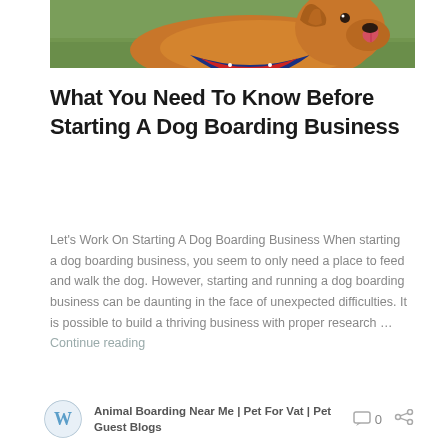[Figure (photo): A golden retriever dog wearing an American flag bandana, photographed outdoors on green grass, partially cropped showing top portion of dog.]
What You Need To Know Before Starting A Dog Boarding Business
Let's Work On Starting A Dog Boarding Business When starting a dog boarding business, you seem to only need a place to feed and walk the dog. However, starting and running a dog boarding business can be daunting in the face of unexpected difficulties. It is possible to build a thriving business with proper research … Continue reading
Animal Boarding Near Me | Pet For Vat | Pet Guest Blogs